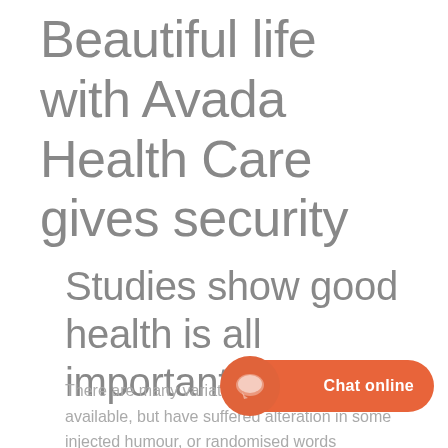Beautiful life with Avada Health Care gives security
Studies show good health is all important
There are many variations of Lorem Ipsum available, but have suffered alteration in some injected humour, or randomised words